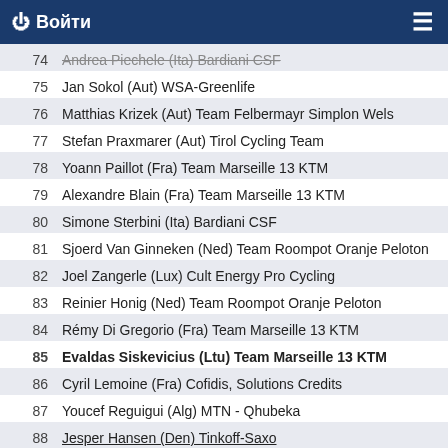Войти
72  Mandel Sehni (Ita) BMC Racing Team
73  Alessandro Tonelli (Ita) Bardiani CSF
74  Andrea Piechele (Ita) Bardiani CSF
75  Jan Sokol (Aut) WSA-Greenlife
76  Matthias Krizek (Aut) Team Felbermayr Simplon Wels
77  Stefan Praxmarer (Aut) Tirol Cycling Team
78  Yoann Paillot (Fra) Team Marseille 13 KTM
79  Alexandre Blain (Fra) Team Marseille 13 KTM
80  Simone Sterbini (Ita) Bardiani CSF
81  Sjoerd Van Ginneken (Ned) Team Roompot Oranje Peloton
82  Joel Zangerle (Lux) Cult Energy Pro Cycling
83  Reinier Honig (Ned) Team Roompot Oranje Peloton
84  Rémy Di Gregorio (Fra) Team Marseille 13 KTM
85  Evaldas Siskevicius (Ltu) Team Marseille 13 KTM
86  Cyril Lemoine (Fra) Cofidis, Solutions Credits
87  Youcef Reguigui (Alg) MTN - Qhubeka
88  Jesper Hansen (Den) Tinkoff-Saxo
89  Matej Mohoric (Slo) Cannondale-Garmin Pro Cycling Team
90  Andreas Umhaller (Aut) Amplatz-BMC
91  Martin Weiss (Aut) Tirol Cycling Team
92  Grischa Janorschke (Ger) Team Vorarlberg
93  Hans-Jörg Leopold (Aut) WSA-Greenlife